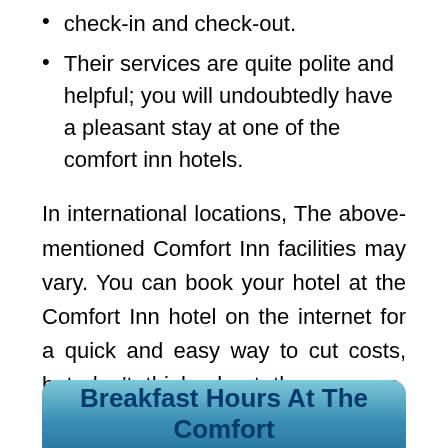check-in and check-out.
Their services are quite polite and helpful; you will undoubtedly have a pleasant stay at one of the comfort inn hotels.
In international locations, The above-mentioned Comfort Inn facilities may vary. You can book your hotel at the Comfort Inn hotel on the internet for a quick and easy way to cut costs, but don't think about the expense. The rates are reasonable.
Breakfast Hours At The Comfort